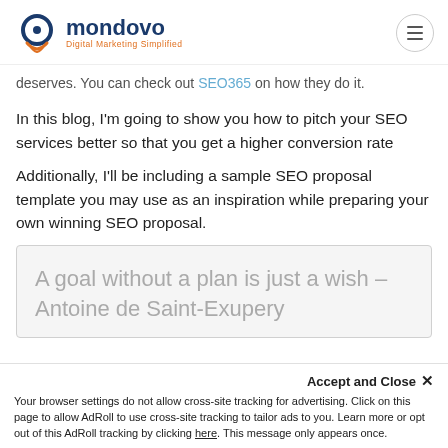mondovo — Digital Marketing Simplified
deserves. You can check out SEO365 on how they do it.
In this blog, I'm going to show you how to pitch your SEO services better so that you get a higher conversion rate
Additionally, I'll be including a sample SEO proposal template you may use as an inspiration while preparing your own winning SEO proposal.
A goal without a plan is just a wish – Antoine de Saint-Exupery
Accept and Close ✕
Your browser settings do not allow cross-site tracking for advertising. Click on this page to allow AdRoll to use cross-site tracking to tailor ads to you. Learn more or opt out of this AdRoll tracking by clicking here. This message only appears once.